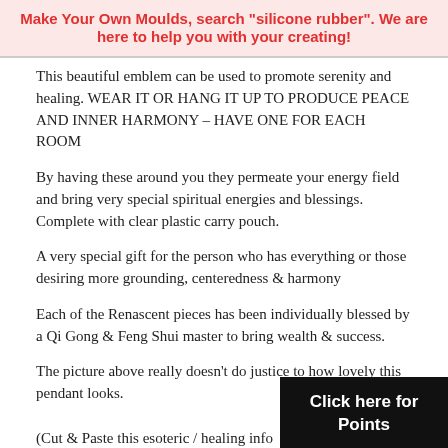Make Your Own Moulds, search "silicone rubber". We are here to help you with your creating!
This beautiful emblem can be used to promote serenity and healing. WEAR IT OR HANG IT UP TO PRODUCE PEACE AND INNER HARMONY – HAVE ONE FOR EACH ROOM
By having these around you they permeate your energy field and bring very special spiritual energies and blessings. Complete with clear plastic carry pouch.
A very special gift for the person who has everything or those desiring more grounding, centeredness & harmony
Each of the Renascent pieces has been individually blessed by a Qi Gong & Feng Shui master to bring wealth & success.
The picture above really doesn't do justice to how lovely this pendant looks.
(Cut & Paste this esoteric / healing info